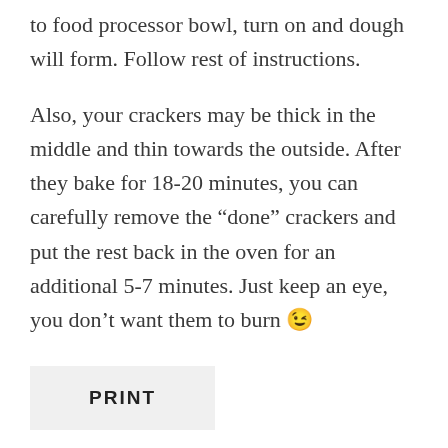to food processor bowl, turn on and dough will form. Follow rest of instructions.
Also, your crackers may be thick in the middle and thin towards the outside. After they bake for 18-20 minutes, you can carefully remove the “done” crackers and put the rest back in the oven for an additional 5-7 minutes. Just keep an eye, you don’t want them to burn 😉
PRINT